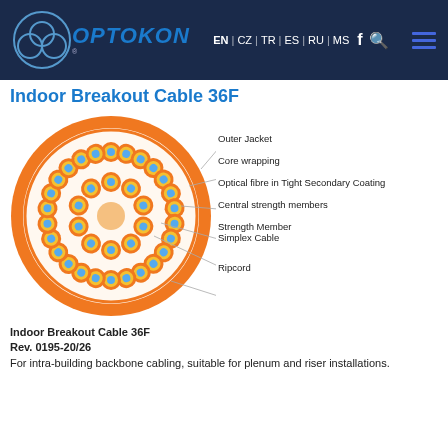OPTOKON | EN | CZ | TR | ES | RU | MS
Indoor Breakout Cable 36F
[Figure (engineering-diagram): Cross-section diagram of Indoor Breakout Cable 36F showing labeled layers: Outer Jacket, Core wrapping, Optical fibre in Tight Secondary Coating, Central strength members, Strength Member, Simplex Cable, Ripcord. Orange outer jacket, multiple orange/blue fiber units arranged in a circle, central peach-colored element.]
Indoor Breakout Cable 36F
Rev. 0195-20/26
For intra-building backbone cabling, suitable for plenum and riser installations.